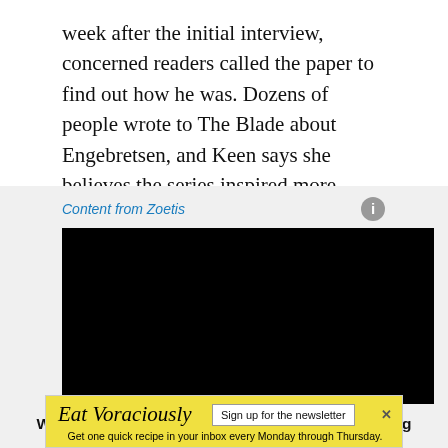week after the initial interview, concerned readers called the paper to find out how he was. Dozens of people wrote to The Blade about Engebretsen, and Keen says she believes the series inspired more letters to the editor than any other feature in the paper's 17-year history.
Content from Zoetis
[Figure (other): Black video player embed area]
Watch: Why adopting a horse can boost well-being
[Figure (other): Newsletter signup banner for Eat Voraciously. Yellow background. Title: Eat Voraciously. Button: Sign up for the newsletter. Subtext: Get one quick recipe in your inbox every Monday through Thursday.]